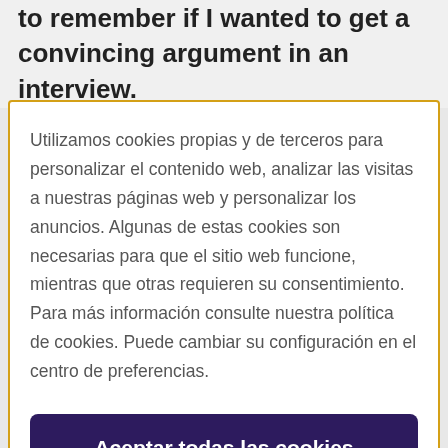to remember if I wanted to get a convincing argument in an interview.
Utilizamos cookies propias y de terceros para personalizar el contenido web, analizar las visitas a nuestras páginas web y personalizar los anuncios. Algunas de estas cookies son necesarias para que el sitio web funcione, mientras que otras requieren su consentimiento. Para más información consulte nuestra política de cookies. Puede cambiar su configuración en el centro de preferencias.
Aceptar todas las cookies
Configuración de cookies